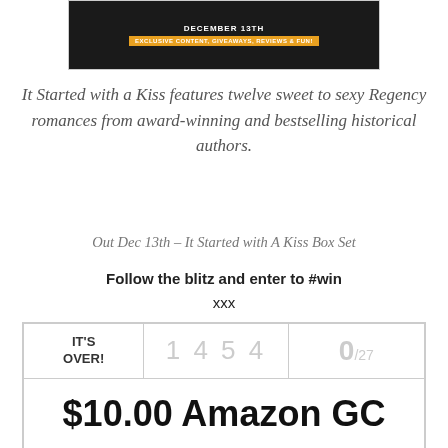[Figure (illustration): Dark banner image with text 'DECEMBER 13TH' and yellow strip reading 'EXCLUSIVE CONTENT, GIVEAWAYS, REVIEWS & FUN!']
It Started with a Kiss features twelve sweet to sexy Regency romances from award-winning and bestselling historical authors.
Out Dec 13th – It Started with A Kiss Box Set
Follow the blitz and enter to #win
xxx
| IT'S OVER! | 1 4 5 4 | 0/27 |
| $10.00 Amazon GC |  |  |